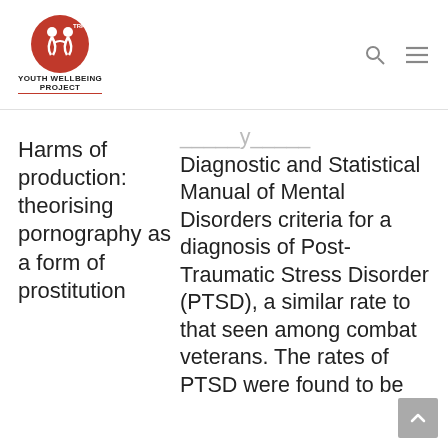[Figure (logo): Youth Wellbeing Project logo — red circular emblem with figures, text 'YOUTH WELLBEING PROJECT' below]
Harms of production: theorising pornography as a form of prostitution
Diagnostic and Statistical Manual of Mental Disorders criteria for a diagnosis of Post-Traumatic Stress Disorder (PTSD), a similar rate to that seen among combat veterans. The rates of PTSD were found to be